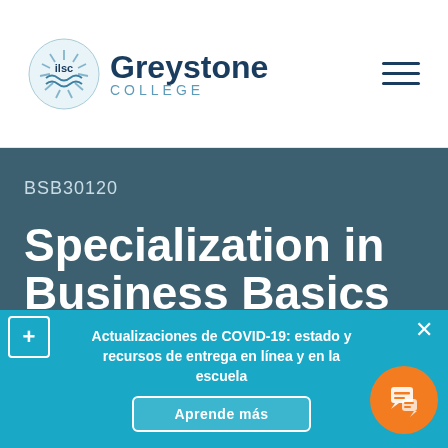[Figure (logo): ILSC Greystone College logo with circular ILSC emblem and Greystone College text]
BSB30120
Specialization in Business Basics
Actualizaciones de COVID-19: estado y recursos de entrega en línea y en la escuela
Aprende más